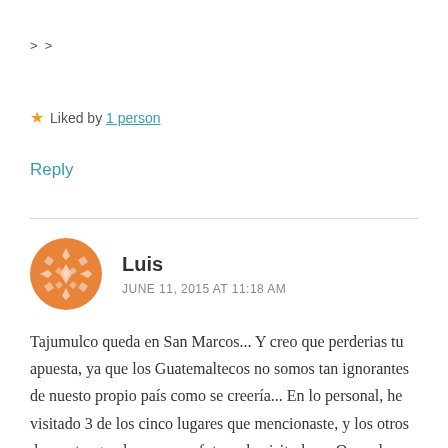> >
★ Liked by 1 person
Reply
Luis
JUNE 11, 2015 AT 11:18 AM
Tajumulco queda en San Marcos... Y creo que perderias tu apuesta, ya que los Guatemaltecos no somos tan ignorantes de nuesto propio país como se creería... En lo personal, he visitado 3 de los cinco lugares que mencionaste, y los otros dos ya tengo planes en un futuro de visitarlos... O puede que sea